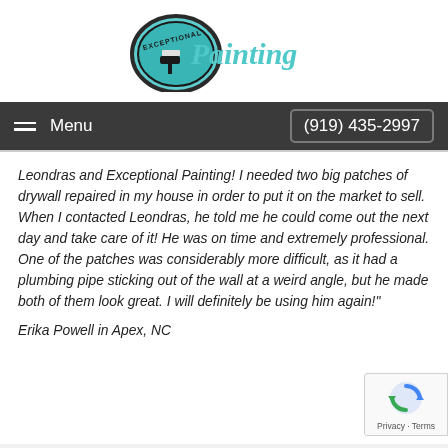[Figure (logo): Exceptional Painting logo — teal circular badge with 'EXCEPTIONAL' text and a paint roller graphic beside the word 'Painting' in teal]
≡ Menu   (919) 435-2997
Leondras and Exceptional Painting! I needed two big patches of drywall repaired in my house in order to put it on the market to sell. When I contacted Leondras, he told me he could come out the next day and take care of it! He was on time and extremely professional. One of the patches was considerably more difficult, as it had a plumbing pipe sticking out of the wall at a weird angle, but he made both of them look great. I will definitely be using him again!"
Erika Powell in Apex, NC